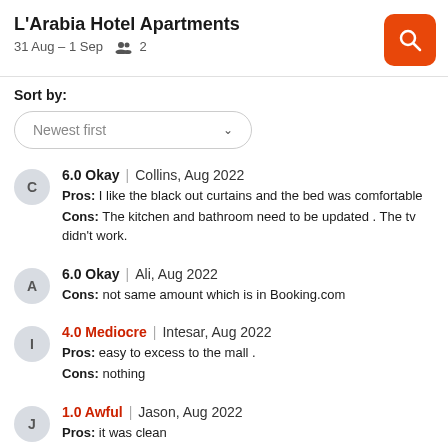L'Arabia Hotel Apartments
31 Aug – 1 Sep   2
Sort by:
Newest first
6.0 Okay | Collins, Aug 2022 — Pros: I like the black out curtains and the bed was comfortable. Cons: The kitchen and bathroom need to be updated . The tv didn't work.
6.0 Okay | Ali, Aug 2022 — Cons: not same amount which is in Booking.com
4.0 Mediocre | Intesar, Aug 2022 — Pros: easy to excess to the mall . Cons: nothing
1.0 Awful | Jason, Aug 2022 — Pros: it was clean